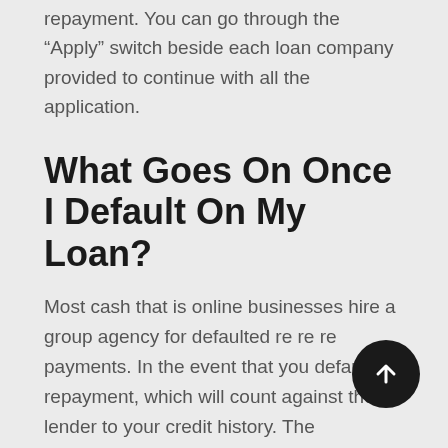repayment. You can go through the “Apply” switch beside each loan company provided to continue with all the application.
What Goes On Once I Default On My Loan?
Most cash that is online businesses hire a group agency for defaulted re re re payments. In the event that you default a repayment, which will count against the lender to your credit history. The Philippines is yet to possess a central system to monitor an individual’s credit score. Nonetheless, these financing businesses might have use of credit documents tracked by personal monetary entities such as for example